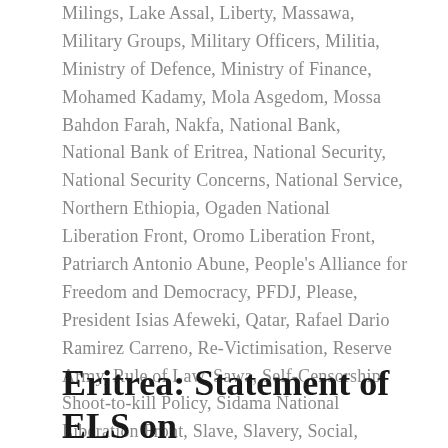Milings, Lake Assal, Liberty, Massawa, Military Groups, Military Officers, Militia, Ministry of Defence, Ministry of Finance, Mohamed Kadamy, Mola Asgedom, Mossa Bahdon Farah, Nakfa, National Bank, National Bank of Eritrea, National Security, National Security Concerns, National Service, Northern Ethiopia, Ogaden National Liberation Front, Oromo Liberation Front, Patriarch Antonio Abune, People's Alliance for Freedom and Democracy, PFDJ, Please, President Isias Afeweki, Qatar, Rafael Dario Ramirez Carreno, Re-Victimisation, Reserve Army, Rule of Law, Sawa, Self-Censorship, Shoot-to-kill Policy, Sidama National Liberation Front, Slave, Slavery, Social, Sudan, Sudanese Prison, Teseney, Tessenei, Tigray, Tigray Peope's Democratic Movement, TPDM, UAE, UN, UN HRC, UN Human Rights Council, United Arab Emirates, United Nation Security Council, United Nations, Unlawful, UNSC, Yemane Gebreab, Yemen, Zakaria Ismail  /  Leave a comment
Eritrea: Statement of ELS on